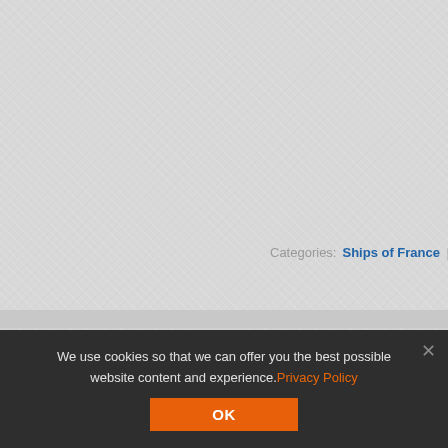[Figure (screenshot): Website UI screenshot showing a dropdown/menu with 'Ships of France' (radio button selected) and 'Cruisers' items, and a categories navigation line showing 'Categories: Ships of France | C...']
Ships of France
Cruisers
Categories: Ships of France | C
We use cookies so that we can offer you the best possible website content and experience.Privacy Policy
OK